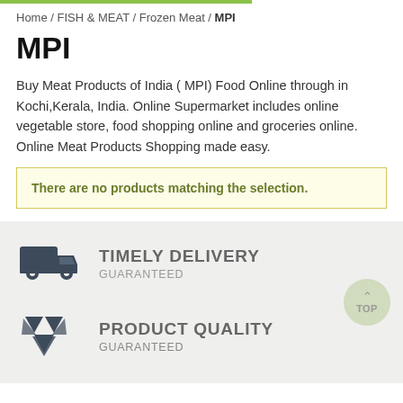Home / FISH & MEAT / Frozen Meat / MPI
MPI
Buy Meat Products of India ( MPI) Food Online through in Kochi,Kerala, India. Online Supermarket includes online vegetable store, food shopping online and groceries online. Online Meat Products Shopping made easy.
There are no products matching the selection.
[Figure (infographic): Delivery truck icon with TIMELY DELIVERY / GUARANTEED text, and a diamond/Dropbox-like icon with PRODUCT QUALITY / GUARANTEED text, on a light grey background. A semi-transparent green circle with TOP label is on the right.]